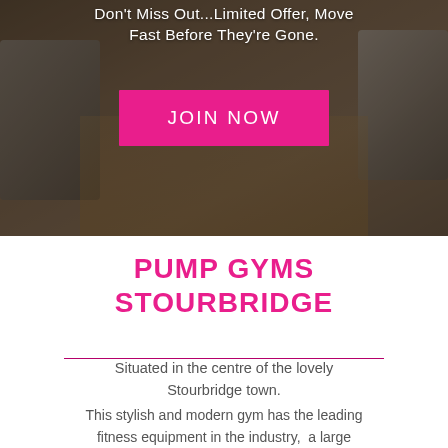[Figure (photo): Interior of a gym with treadmills on both sides and a wooden floor, dark overlay]
Don't Miss Out...Limited Offer, Move Fast Before They're Gone.
JOIN NOW
PUMP GYMS STOURBRIDGE
Situated in the centre of the lovely Stourbridge town.
This stylish and modern gym has the leading fitness equipment in the industry,  a large functional training area,  great instructors and